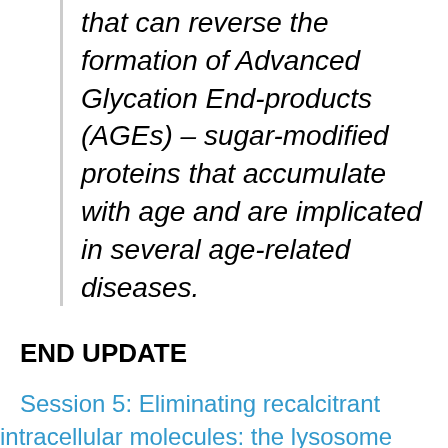that can reverse the formation of Advanced Glycation End-products (AGEs) – sugar-modified proteins that accumulate with age and are implicated in several age-related diseases.
END UPDATE
Session 5: Eliminating recalcitrant intracellular molecules: the lysosome
Jeffrey Grubb spoke about new methods for delivering missing enzymes to the lysozomes of